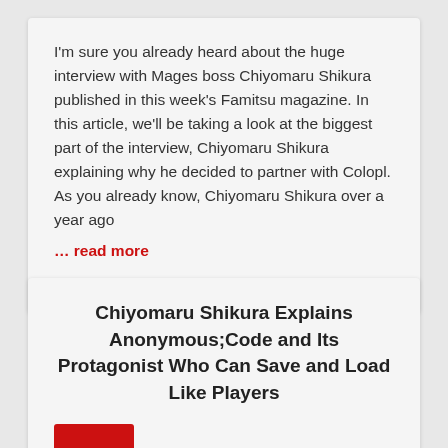I'm sure you already heard about the huge interview with Mages boss Chiyomaru Shikura published in this week's Famitsu magazine. In this article, we'll be taking a look at the biggest part of the interview, Chiyomaru Shikura explaining why he decided to partner with Colopl. As you already know, Chiyomaru Shikura over a year ago ... read more
August 6, 2020
Chiyomaru Shikura Explains Anonymous;Code and Its Protagonist Who Can Save and Load Like Players